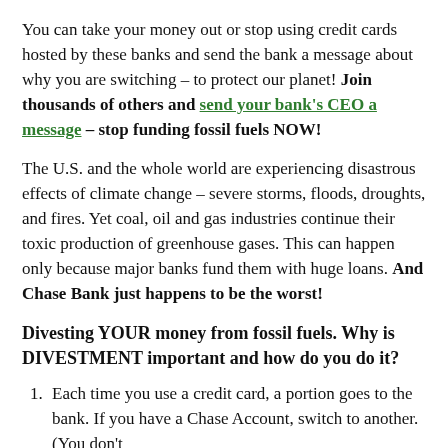You can take your money out or stop using credit cards hosted by these banks and send the bank a message about why you are switching – to protect our planet! Join thousands of others and send your bank's CEO a message – stop funding fossil fuels NOW!
The U.S. and the whole world are experiencing disastrous effects of climate change – severe storms, floods, droughts, and fires. Yet coal, oil and gas industries continue their toxic production of greenhouse gases. This can happen only because major banks fund them with huge loans. And Chase Bank just happens to be the worst!
Divesting YOUR money from fossil fuels. Why is DIVESTMENT important and how do you do it?
Each time you use a credit card, a portion goes to the bank. If you have a Chase Account, switch to another. (You don't